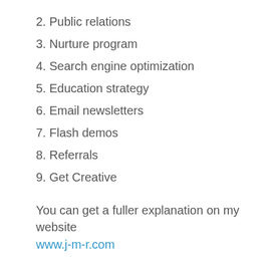2. Public relations
3. Nurture program
4. Search engine optimization
5. Education strategy
6. Email newsletters
7. Flash demos
8. Referrals
9. Get Creative
You can get a fuller explanation on my website www.j-m-r.com
And this is what we’re telling clients now, with the economy heading into a recession...
1. Move marketing online
One of the first things that gets cut in a